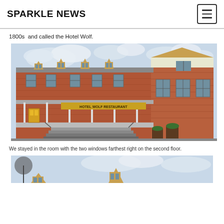SPARKLE NEWS
1800s  and called the Hotel Wolf.
[Figure (photo): Exterior photo of the Hotel Wolf Restaurant, a historic red brick building with dormer windows and a covered front porch with steps. Sign reads HOTEL WOLF RESTAURANT.]
We stayed in the room with the two windows farthest right on the second floor.
[Figure (photo): Partial view of another photo of the Hotel Wolf building, showing the upper portion with dormer windows against a cloudy sky.]